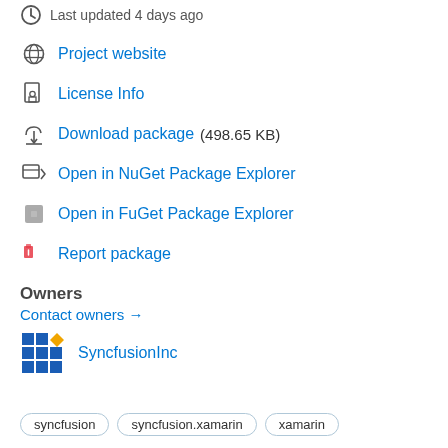Last updated 4 days ago
Project website
License Info
Download package  (498.65 KB)
Open in NuGet Package Explorer
Open in FuGet Package Explorer
Report package
Owners
Contact owners →
SyncfusionInc
syncfusion  syncfusion.xamarin  xamarin